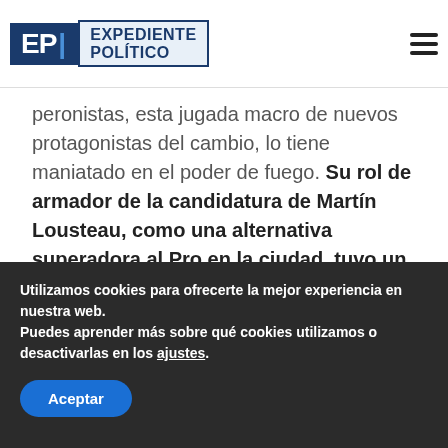EP | EXPEDIENTE POLÍTICO
peronistas, esta jugada macro de nuevos protagonistas del cambio, lo tiene maniatado en el poder de fuego. Su rol de armador de la candidatura de Martín Lousteau, como una alternativa superadora al Pro en la ciudad, tuvo un magro resultado en las PASO.
Sin embargo, al Coti nunca se lo subestima. Mandó, a un casi desconocido, el legislador
Utilizamos cookies para ofrecerte la mejor experiencia en nuestra web. Puedes aprender más sobre qué cookies utilizamos o desactivarlas en los ajustes.
Aceptar